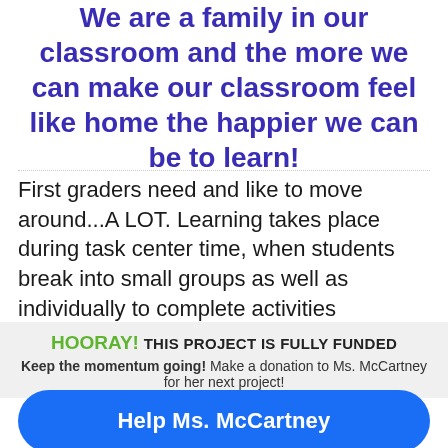We are a family in our classroom and the more we can make our classroom feel like home the happier we can be to learn!
First graders need and like to move around...A LOT. Learning takes place during task center time, when students break into small groups as well as individually to complete activities
HOORAY! THIS PROJECT IS FULLY FUNDED
Keep the momentum going! Make a donation to Ms. McCartney for her next project!
Help Ms. McCartney